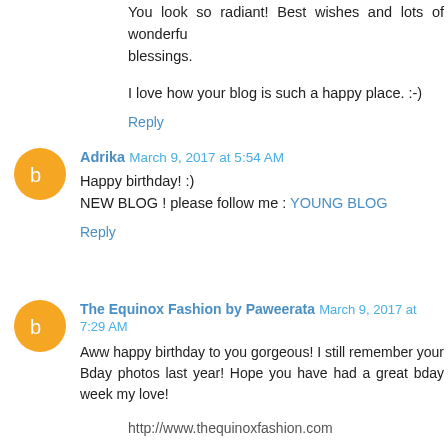You look so radiant! Best wishes and lots of wonderful blessings.
I love how your blog is such a happy place. :-)
Reply
Adrika  March 9, 2017 at 5:54 AM
Happy birthday! :)
NEW BLOG ! please follow me : YOUNG BLOG
Reply
The Equinox Fashion by Paweerata  March 9, 2017 at 7:29 AM
Aww happy birthday to you gorgeous! I still remember your Bday photos last year! Hope you have had a great bday week my love!
http://www.thequinoxfashion.com